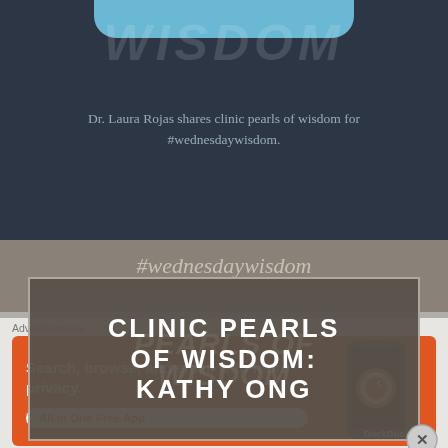[Figure (screenshot): Top portion of a social media post with dark navy background, blue rounded tab at top, faded italic 'WISDOM' watermark text, and body text reading 'Dr. Laura Rojas shares clinic pearls of wisdom for #wednesdaywisdom.' Below is a gray band with italic hashtag '#wednesdaywisdom'. Overlaid card with text 'CLINIC PEARLS OF WISDOM: KATHY ONG' in white uppercase bold on dark brownish-gray background with border. A circular close button (X) appears at lower right.]
Dr. Laura Rojas shares clinic pearls of wisdom for #wednesdaywisdom.
CLINIC PEARLS OF WISDOM: KATHY ONG
Advertisements
[Figure (screenshot): DuckDuckGo advertisement banner on orange background. Left side text: 'Search, browse, and email with more privacy.' with 'All in One Free App' button. Right side shows a phone with DuckDuckGo logo and 'DuckDuckGo.' label.]